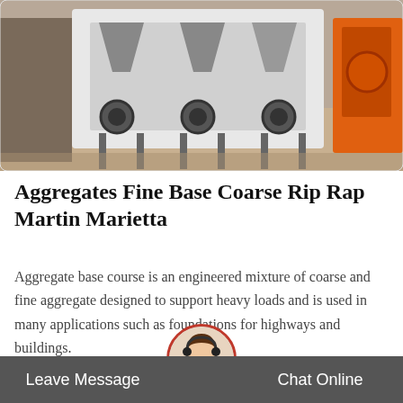[Figure (photo): Industrial aggregate processing machinery — large white and black belt press or screening equipment on a sandy construction site, with orange machinery visible on the right and a worker on the left.]
Aggregates Fine Base Coarse Rip Rap Martin Marietta
Aggregate base course is an engineered mixture of coarse and fine aggregate designed to support heavy loads and is used in many applications such as foundations for highways and buildings.
[Figure (illustration): Get Price button with dashed cyan border and cyan text, plus an upload/share icon (upward arrow above a horizontal line) in cyan/blue on the right side.]
[Figure (photo): Circular avatar of a smiling woman wearing a headset, bordered with a red/dark red ring, used as a chat support icon.]
Leave Message   Chat Online